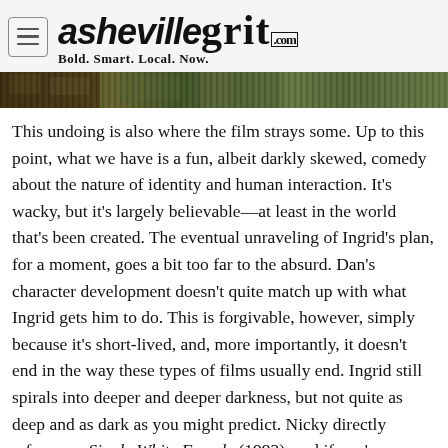ashevillegrit.com — Bold. Smart. Local. Now.
[Figure (photo): Partial view of a film still or outdoor scene image strip, showing muted greens and browns]
This undoing is also where the film strays some. Up to this point, what we have is a fun, albeit darkly skewed, comedy about the nature of identity and human interaction. It's wacky, but it's largely believable—at least in the world that's been created. The eventual unraveling of Ingrid's plan, for a moment, goes a bit too far to the absurd. Dan's character development doesn't quite match up with what Ingrid gets him to do. This is forgivable, however, simply because it's short-lived, and, more importantly, it doesn't end in the way these types of films usually end. Ingrid still spirals into deeper and deeper darkness, but not quite as deep and as dark as you might predict. Nicky directly references Single White Female (1992), and if you've ever seen that film, you would too, but as much professional help as she likely needs, Ingrid never devolves that far.